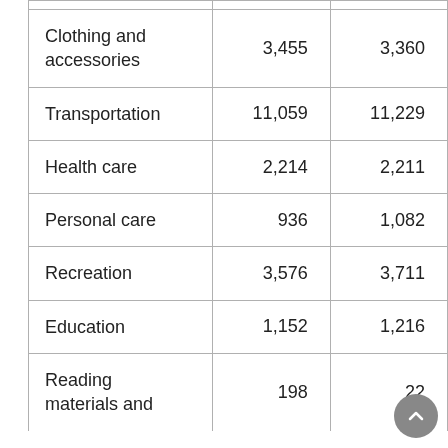| Category | Value 1 | Value 2 |
| --- | --- | --- |
| Clothing and accessories | 3,455 | 3,360 |
| Transportation | 11,059 | 11,229 |
| Health care | 2,214 | 2,211 |
| Personal care | 936 | 1,082 |
| Recreation | 3,576 | 3,711 |
| Education | 1,152 | 1,216 |
| Reading materials and | 198 | 221 |